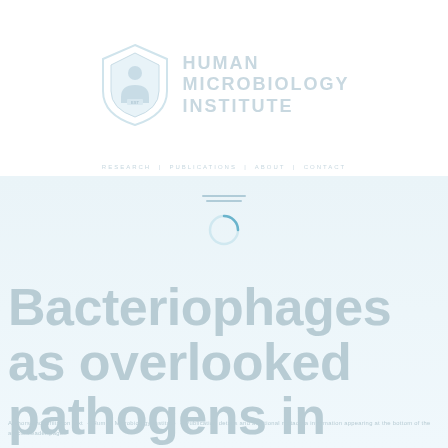[Figure (logo): Human Microbiology Institute shield logo with text]
Human Microbiology Institute navigation bar
Bacteriophages as overlooked pathogens in autoimmune diseases
subtitle/author text below title